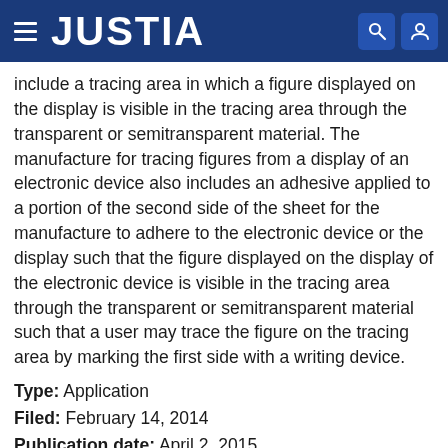JUSTIA
include a tracing area in which a figure displayed on the display is visible in the tracing area through the transparent or semitransparent material. The manufacture for tracing figures from a display of an electronic device also includes an adhesive applied to a portion of the second side of the sheet for the manufacture to adhere to the electronic device or the display such that the figure displayed on the display of the electronic device is visible in the tracing area through the transparent or semitransparent material such that a user may trace the figure on the tracing area by marking the first side with a writing device.
Type: Application
Filed: February 14, 2014
Publication date: April 2, 2015
Inventor: Luis Javier Pagan